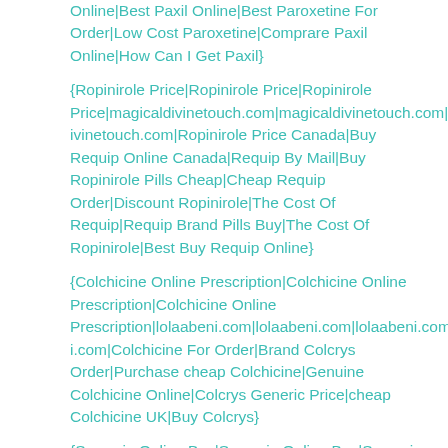Online|Best Paxil Online|Best Paroxetine For Order|Low Cost Paroxetine|Comprare Paxil Online|How Can I Get Paxil}
{Ropinirole Price|Ropinirole Price|Ropinirole Price|magicaldivinetouch.com|magicaldivinetouch.com|magicaldivinetouch.com|Ropinirole Price Canada|Buy Requip Online Canada|Requip By Mail|Buy Ropinirole Pills Cheap|Cheap Requip Order|Discount Ropinirole|The Cost Of Requip|Requip Brand Pills Buy|The Cost Of Ropinirole|Best Buy Requip Online}
{Colchicine Online Prescription|Colchicine Online Prescription|Colchicine Online Prescription|lolaabeni.com|lolaabeni.com|lolaabeni.com|lolaabeni.com|Colchicine For Order|Brand Colcrys Order|Purchase cheap Colchicine|Genuine Colchicine Online|Colcrys Generic Price|cheap Colchicine UK|Buy Colcrys}
{Sumycin Online Buy|Sumycin Online Buy|Sumycin Online Buy|skeleh.com|skeleh.com|skeleh.com|skeleh.com|skeleh.com|skeleh.com